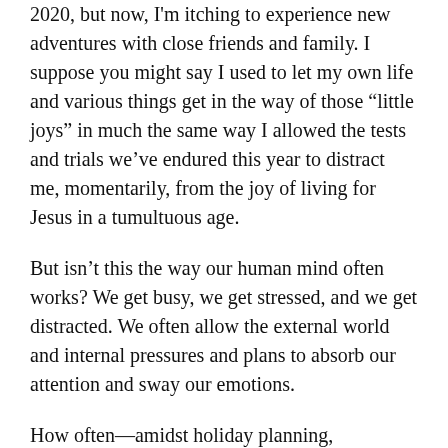2020, but now, I'm itching to experience new adventures with close friends and family. I suppose you might say I used to let my own life and various things get in the way of those “little joys” in much the same way I allowed the tests and trials we’ve endured this year to distract me, momentarily, from the joy of living for Jesus in a tumultuous age.
But isn’t this the way our human mind often works? We get busy, we get stressed, and we get distracted. We often allow the external world and internal pressures and plans to absorb our attention and sway our emotions.
How often—amidst holiday planning, Christmas shopping, decorating, and baking—have you allowed yourself this season to stop and think about the importance of why we celebrate Christmas? How often have you meditated on the fact that our God, who didn’t need to leave His Throne in Heaven, chose to come and humble Himself in God...